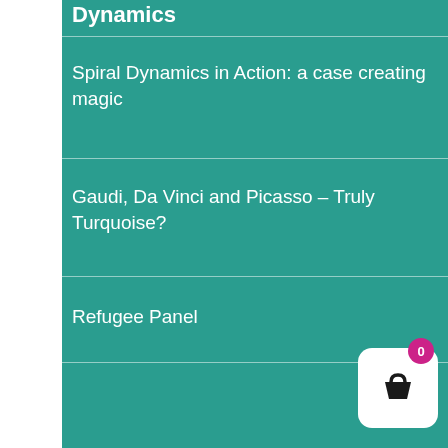Dynamics
Spiral Dynamics in Action: a case creating magic
Gaudi, Da Vinci and Picasso – Truly Turquoise?
Refugee Panel